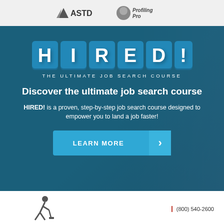[Figure (logo): ASTD and ProfilingPro logos in top header bar]
[Figure (infographic): HIRED! The Ultimate Job Search Course banner with dark teal background, letter tiles spelling HIRED!, headline, description text, and Learn More button]
Discover the ultimate job search course
HIRED! is a proven, step-by-step job search course designed to empower you to land a job faster!
LEARN MORE
[Figure (illustration): Person digging/working figure silhouette at bottom left]
(800) 540-2600